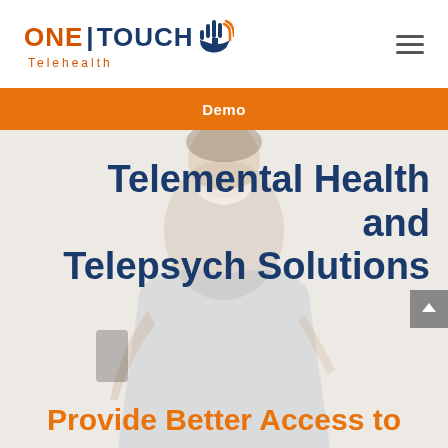[Figure (logo): ONE | TOUCH Telehealth logo with orange ONE, navy TOUCH text, pipe divider, hand/touch icon, and orange Telehealth subtitle]
Demo
Telemental Health and Telepsych Solutions
Provide Better Access to
[Figure (photo): Faded background photo of a young woman wearing a face mask holding a smartphone, shown from waist up on a light background]